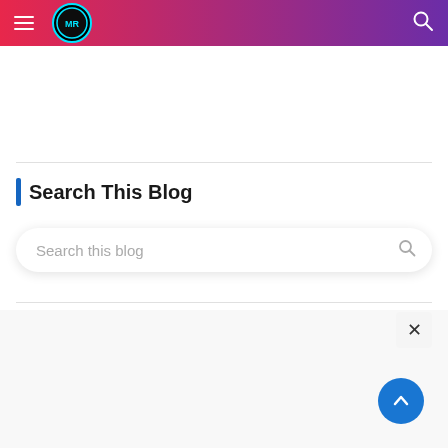MR Blog navigation header with hamburger menu, logo, and search icon
Search This Blog
Search this blog
[Figure (screenshot): Back to top circular blue button with upward chevron arrow]